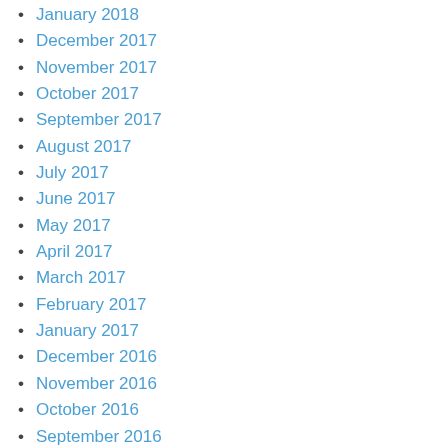January 2018
December 2017
November 2017
October 2017
September 2017
August 2017
July 2017
June 2017
May 2017
April 2017
March 2017
February 2017
January 2017
December 2016
November 2016
October 2016
September 2016
March 2016
January 2016